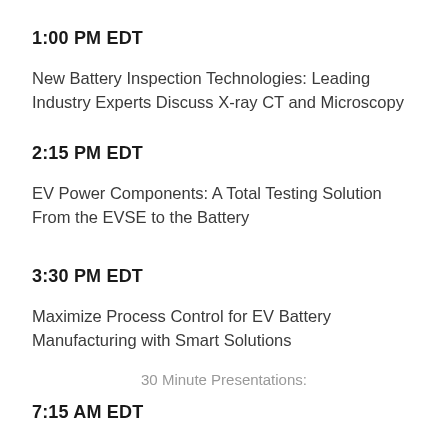1:00 PM EDT
New Battery Inspection Technologies: Leading Industry Experts Discuss X-ray CT and Microscopy
2:15 PM EDT
EV Power Components: A Total Testing Solution From the EVSE to the Battery
3:30 PM EDT
Maximize Process Control for EV Battery Manufacturing with Smart Solutions
30 Minute Presentations:
7:15 AM EDT